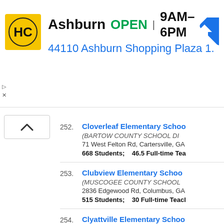[Figure (screenshot): Advertisement banner for Hardee's (HC logo) showing Ashburn location: OPEN 9AM-6PM, 44110 Ashburn Shopping Plaza 1., with navigation arrow icon]
252. Cloverleaf Elementary School (BARTOW COUNTY SCHOOL DISTRICT) 71 West Felton Rd, Cartersville, GA 668 Students; 46.5 Full-time Teachers
253. Clubview Elementary School (MUSCOGEE COUNTY SCHOOL DISTRICT) 2836 Edgewood Rd, Columbus, GA 515 Students; 30 Full-time Teachers
254. Clyattville Elementary School (LOWNDES COUNTY SCHOOL DISTRICT) 5386 Madison Hwy, Valdosta, GA 629 Students; 50.4 Full-time Teachers
255. Coal Mountain Elementary School (FORSYTH COUNTY SCHOOL DISTRICT)